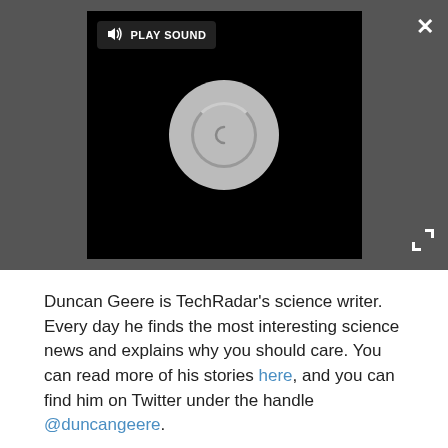[Figure (screenshot): Video player with black background, a circular loader/spinner in the center, and a 'PLAY SOUND' button with speaker icon in top-left corner.]
Duncan Geere is TechRadar's science writer. Every day he finds the most interesting science news and explains why you should care. You can read more of his stories here, and you can find him on Twitter under the handle @duncangeere.
SEE MORE WORLD OF TECH NEWS ▶